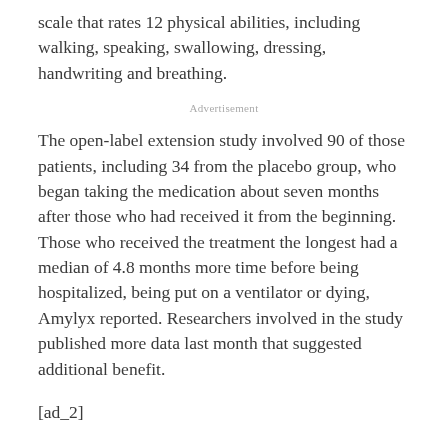scale that rates 12 physical abilities, including walking, speaking, swallowing, dressing, handwriting and breathing.
Advertisement
The open-label extension study involved 90 of those patients, including 34 from the placebo group, who began taking the medication about seven months after those who had received it from the beginning. Those who received the treatment the longest had a median of 4.8 months more time before being hospitalized, being put on a ventilator or dying, Amylyx reported. Researchers involved in the study published more data last month that suggested additional benefit.
[ad_2]
Read Also :